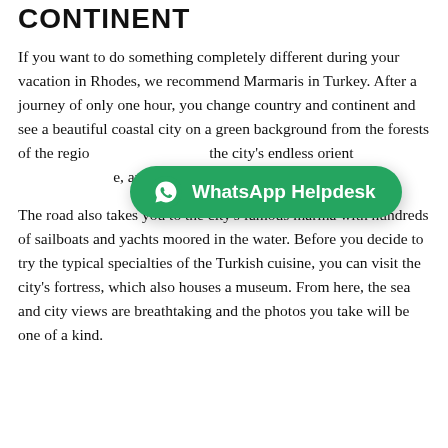CONTINENT
If you want to do something completely different during your vacation in Rhodes, we recommend Marmaris in Turkey. After a journey of only one hour, you change country and continent and see a beautiful coastal city on a green background from the forests of the region. You can explore the city's endless orient… and try the delicious local sweets.
[Figure (other): WhatsApp Helpdesk button overlay in green rounded rectangle with WhatsApp logo icon]
The road also takes you to the city's famous marina with hundreds of sailboats and yachts moored in the water. Before you decide to try the typical specialties of the Turkish cuisine, you can visit the city's fortress, which also houses a museum. From here, the sea and city views are breathtaking and the photos you take will be one of a kind.